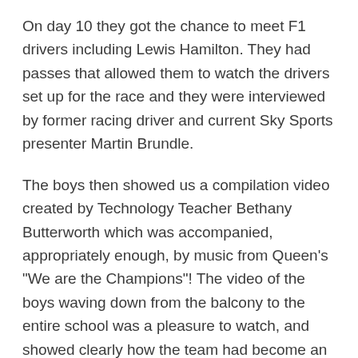On day 10 they got the chance to meet F1 drivers including Lewis Hamilton. They had passes that allowed them to watch the drivers set up for the race and they were interviewed by former racing driver and current Sky Sports presenter Martin Brundle.
The boys then showed us a compilation video created by Technology Teacher Bethany Butterworth which was accompanied, appropriately enough, by music from Queen's "We are the Champions"! The video of the boys waving down from the balcony to the entire school was a pleasure to watch, and showed clearly how the team had become an inspiration to all of the school's pupils.
We learnt of the boys' community work and their desire to "give back" to the wider community. They told